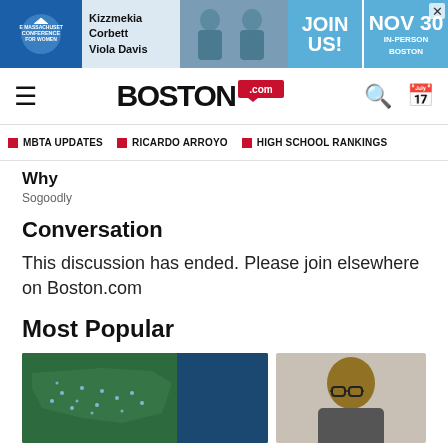[Figure (other): Advertisement banner for The Massachusetts Conference for Women featuring Kizzmekia Corbett and Viola Davis, with 'JOIN US! NOV 30 IN-PERSON BOSTON']
BOSTON.com
MBTA UPDATES
RICARDO ARROYO
HIGH SCHOOL RANKINGS
Why
Sogoodly
Conversation
This discussion has ended. Please join elsewhere on Boston.com
Most Popular
[Figure (photo): Aerial/satellite map image showing Massachusetts]
[Figure (photo): Portrait photo of a man wearing glasses]